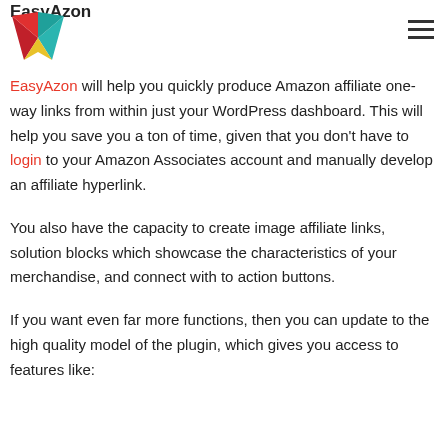EasyAzon
[Figure (logo): Colorful geometric bird/wing logo in red, teal, and yellow on white background]
EasyAzon will help you quickly produce Amazon affiliate one-way links from within just your WordPress dashboard. This will help you save you a ton of time, given that you don't have to login to your Amazon Associates account and manually develop an affiliate hyperlink.
You also have the capacity to create image affiliate links, solution blocks which showcase the characteristics of your merchandise, and connect with to action buttons.
If you want even far more functions, then you can update to the high quality model of the plugin, which gives you access to features like: